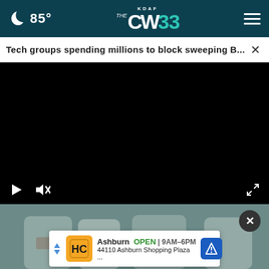🌙 85° | KDAF CW33 | ☰
Tech groups spending millions to block sweeping B... ×
[Figure (screenshot): Black video player area with play button, mute button, and fullscreen icon controls at the bottom]
[Figure (photo): People in lab coats or work attire at a table with money/documents]
Ashburn  OPEN | 9AM–6PM
44110 Ashburn Shopping Plaza ...